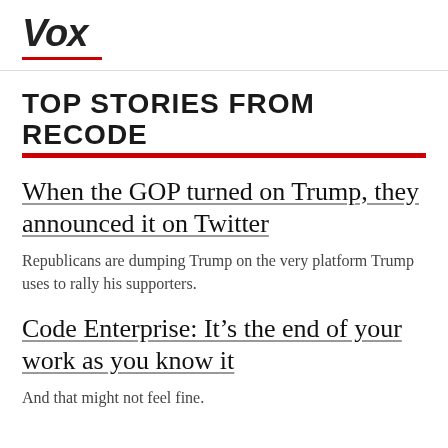Vox
TOP STORIES FROM RECODE
When the GOP turned on Trump, they announced it on Twitter
Republicans are dumping Trump on the very platform Trump uses to rally his supporters.
Code Enterprise: It’s the end of your work as you know it
And that might not feel fine.